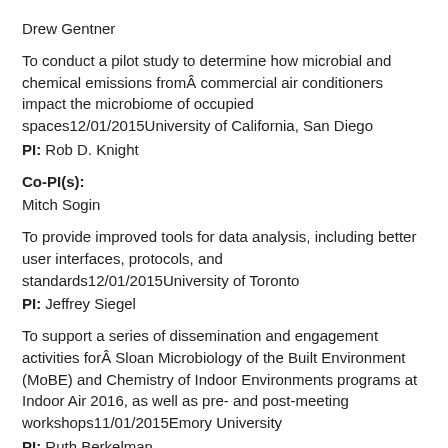Drew Gentner
To conduct a pilot study to determine how microbial and chemical emissions fromÂ commercial air conditioners impact the microbiome of occupied spaces12/01/2015University of California, San Diego PI: Rob D. Knight
Co-PI(s): Mitch Sogin
To provide improved tools for data analysis, including better user interfaces, protocols, and standards12/01/2015University of Toronto PI: Jeffrey Siegel
To support a series of dissemination and engagement activities forÂ Sloan Microbiology of the Built Environment (MoBE) and Chemistry of Indoor Environments programs at Indoor Air 2016, as well as pre- and post-meeting workshops11/01/2015Emory University PI: Ruth Berkelman
To conduct planning activities to organize a multidisciplinary workshop on the microbiology of